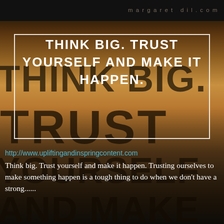margaret dil.com
[Figure (illustration): Motivational quote image with dark warm-toned background showing large dark bold text reading THINK BIG. TRUST YOURSELF AND MAKE overlaid with a white-bordered box containing the quote text]
THINK BIG. TRUST YOURSELF AND MAKE IT HAPPEN.
http://www.upliftingandinspringcontent.com
Think big. Trust yourself and make it happen. Trusting ourselves to make something happen is a tough thing to do when we don't have a strong......